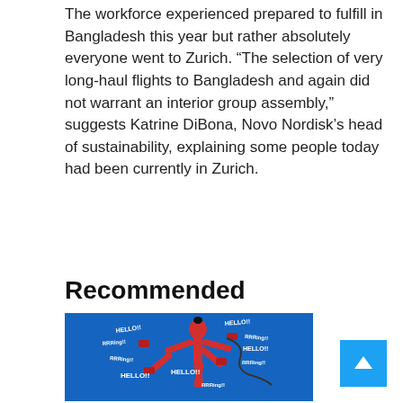The workforce experienced prepared to fulfill in Bangladesh this year but rather absolutely everyone went to Zurich. “The selection of very long-haul flights to Bangladesh and again did not warrant an interior group assembly,” suggests Katrine DiBona, Novo Nordisk’s head of sustainability, explaining some people today had been currently in Zurich.
Recommended
[Figure (illustration): Blue background illustration of a red stick-figure character with multiple arms holding phones, surrounded by speech bubbles saying HELLO!! and RRRing!!]